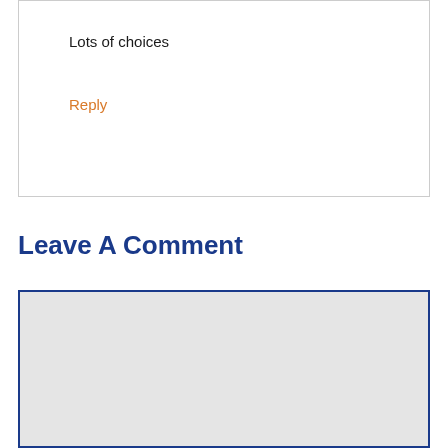Lots of choices
Reply
Leave A Comment
[Figure (other): Empty comment text area input box with light gray background and dark blue border]